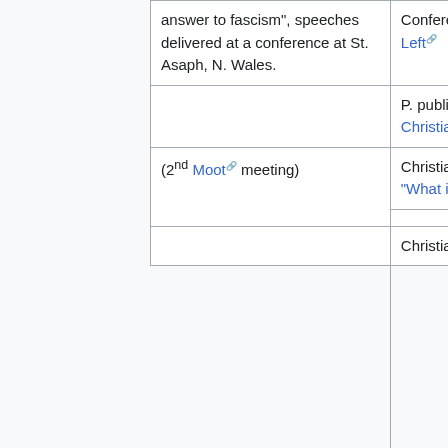| answer to fascism", speeches delivered at a conference at St. Asaph, N. Wales. | Conference of the Christian Left |  |
|  | P. publishes a bulletin for the Christian Left Group |  |
|  | Christian Left Pamphlet n°1: "What is the Christian Left?" |  |
| (2nd Moot meeting) |  |  |
|  |  |  |
|  | Christian Left Pamphlet n°2: |  |